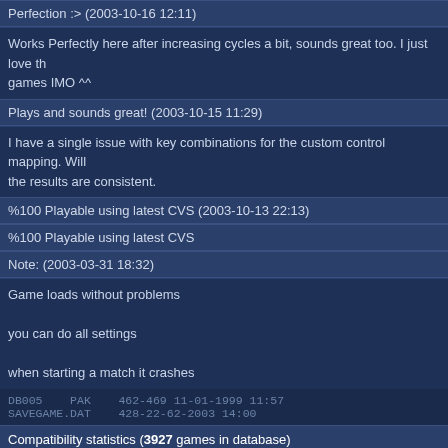Perfection :> (2003-10-16 12:11)
Works Perfectly here after increasing cycles a bit, sounds great too. I just love th... games IMO ^^
Plays and sounds great! (2003-10-15 11:29)
I have a single issue with key combinations for the custom control mapping. Will... the results are consistent.
%100 Playable using latest CVS (2003-10-13 22:13)
%100 Playable using latest CVS
Note: (2003-03-31 18:32)
Game loads without problems

you can do all settings

when starting a match it crashes
DB005   PAK   462-469 11-01-1999 11:57
SAVEGAME.DAT   428-22-62-2003 14:00
Compatibility statistics (3927 games in database)
| Version: | Games broken: | Games runnable: | Games |
| --- | --- | --- | --- |
| DOSBox 0.74-3 (1249) | 18 (1.44%) | 44 (3.52%) | 46 (3.68%) |
| DOSBox 0.73 (644) | 16 (2.48%) | 23 (3.57%) | 17 (2.64%) |
| DOSBox 0.72 (722) | 45 (6.23%) | 24 (3.32%) | 31 (4.29%) |
| DOSBox 0.71 (164) | 29 (17.68%) | 12 (7.32%) | 8 (4.88%) |
| DOSBox 0.70 (952) | 23 (2.42%) | 17 (1.79%) | 29 (3.05%) |
| DOSBox 0.65 (727) | 39 (5.36%) | 30 (4.13%) | 41 (5.64%) |
| DOSBox 0.63 (917) | 76 (8.30%) | 45 (4.91%) | 46 (5.02%) |